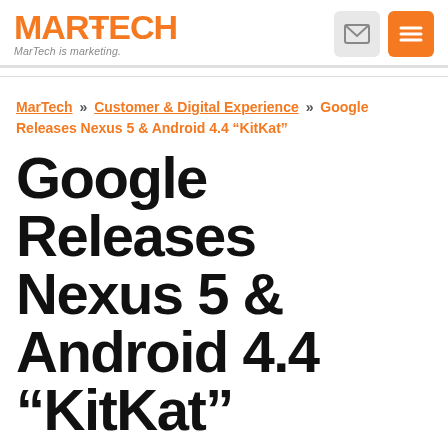MARTECH — MarTech is marketing.
MarTech » Customer & Digital Experience » Google Releases Nexus 5 & Android 4.4 "KitKat"
Google Releases Nexus 5 & Android 4.4 “KitKat”
The latest Google-branded “Nexus” phone is now out, as well as the latest Android operating system. Google shared the news with no big event, no fanfare — just a